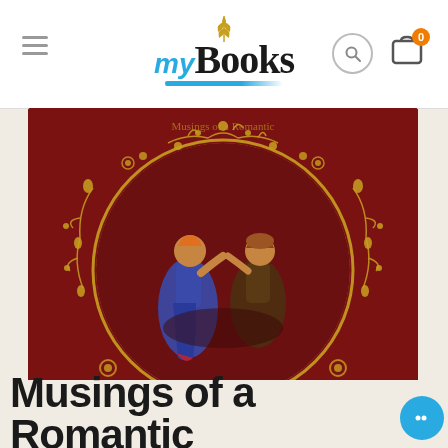myBooks
[Figure (photo): Book cover for 'Musings of a Romantic' by Shankar N Kashyap. Dark red/maroon background with a circular gold floral border frame. Inside the circle are two figures in traditional Indian style illustration. Gold vine and floral decorations surround the circle. Author name 'Shankar N Kashyap' written in white at the bottom of the cover.]
Musings of a Romantic